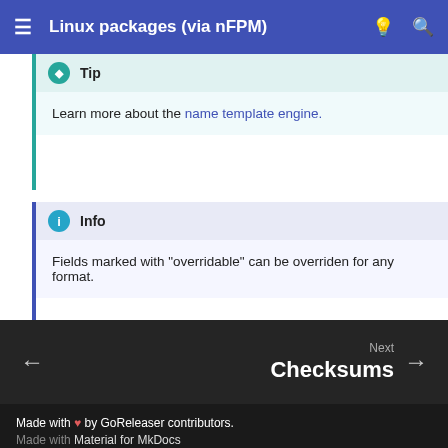Linux packages (via nFPM)
Tip
Learn more about the name template engine.
Info
Fields marked with "overridable" can be overriden for any format.
Next
Checksums
Made with ♥ by GoReleaser contributors.
Made with Material for MkDocs